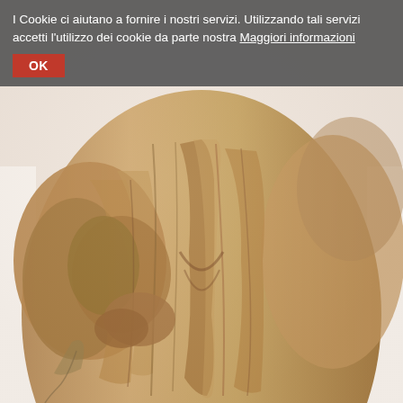[Figure (photo): Close-up photograph of an ancient stone or terracotta sculpture showing draped robes/garments of a figure, with detailed folds and textures. The sculpture appears to be of a robed human figure, showing the torso and arms area with intricate carved drapery in warm tan/brown tones against a white background.]
I Cookie ci aiutano a fornire i nostri servizi. Utilizzando tali servizi accetti l'utilizzo dei cookie da parte nostra Maggiori informazioni
OK